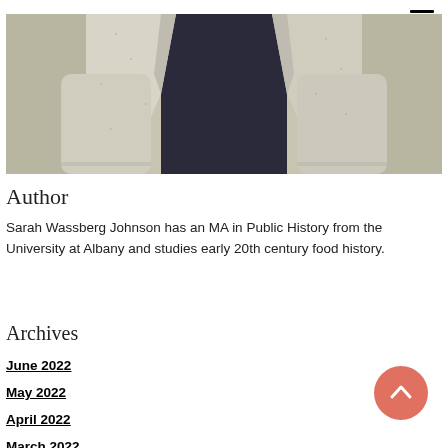[Figure (photo): Photo of a person wearing a white/light grey open cardigan over a dark shirt, cropped at the torso/mid-section]
Author
Sarah Wassberg Johnson has an MA in Public History from the University at Albany and studies early 20th century food history.
Become a patron
Archives
June 2022
May 2022
April 2022
March 2022
February 2022